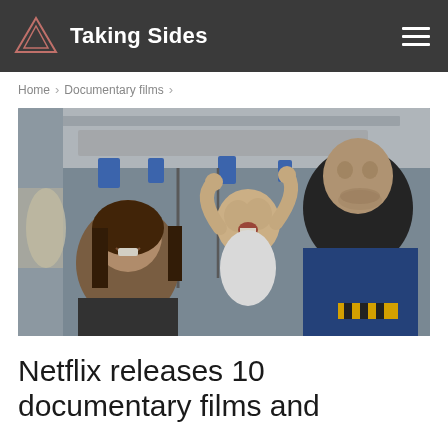Taking Sides
Home > Documentary films >
[Figure (photo): A smiling woman and man with a laughing toddler in a white onesie reaching upward, inside what appears to be a spacecraft or aircraft interior with blue equipment panels]
Netflix releases 10 documentary films and